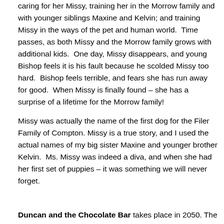caring for her Missy, training her in the Morrow family and with younger siblings Maxine and Kelvin; and training Missy in the ways of the pet and human world.  Time passes, as both Missy and the Morrow family grows with additional kids.  One day, Missy disappears, and young Bishop feels it is his fault because he scolded Missy too hard.  Bishop feels terrible, and fears she has run away for good.  When Missy is finally found – she has a surprise of a lifetime for the Morrow family!
Missy was actually the name of the first dog for the Filer Family of Compton. Missy is a true story, and I used the actual names of my big sister Maxine and younger brother Kelvin.  Ms. Missy was indeed a diva, and when she had her first set of puppies – it was something we will never forget.
Duncan and the Chocolate Bar takes place in 2050. The